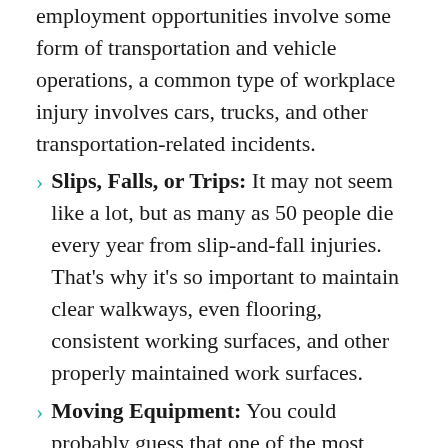employment opportunities involve some form of transportation and vehicle operations, a common type of workplace injury involves cars, trucks, and other transportation-related incidents.
Slips, Falls, or Trips: It may not seem like a lot, but as many as 50 people die every year from slip-and-fall injuries. That's why it's so important to maintain clear walkways, even flooring, consistent working surfaces, and other properly maintained work surfaces.
Moving Equipment: You could probably guess that one of the most common workplace injuries involved equipment, but it's more specific than that. You could be injured by any object that slides, rolls, rotates, or moves. There are quite a few pieces of equipment that fall somewhere in